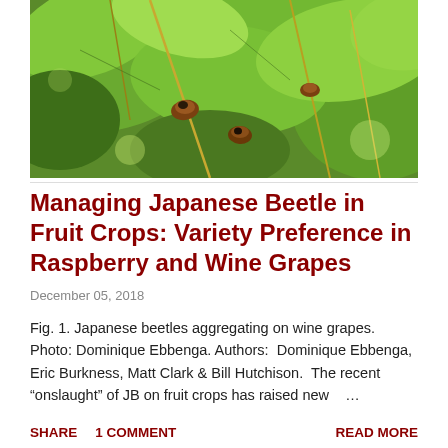[Figure (photo): Close-up photo of Japanese beetles aggregating on wine grape leaves and vines, with green foliage and brownish-orange beetles visible.]
Managing Japanese Beetle in Fruit Crops: Variety Preference in Raspberry and Wine Grapes
December 05, 2018
Fig. 1. Japanese beetles aggregating on wine grapes. Photo: Dominique Ebbenga. Authors:  Dominique Ebbenga, Eric Burkness, Matt Clark & Bill Hutchison.  The recent “onsistlaught” of JB on fruit crops has raised new   ...
SHARE    1 COMMENT                                         READ MORE